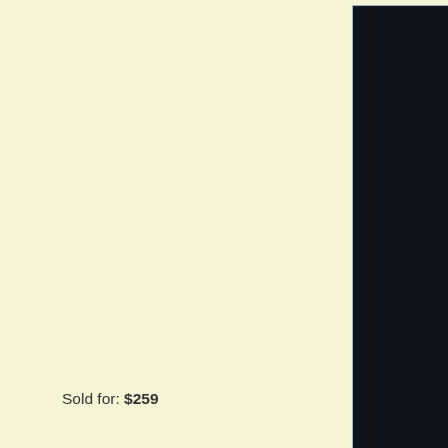[Figure (photo): A mannequin wearing a sleeveless red and golden-orange color-blocked wrap-style long dress/jumpsuit, displayed against a dark background on a black stand.]
Sold for: $259